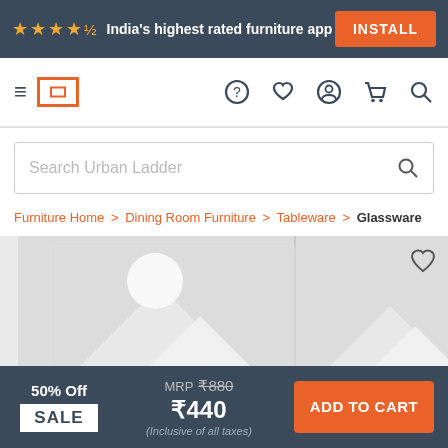★★★★½ India's highest rated furniture app  INSTALL
[Figure (screenshot): Navigation bar with hamburger menu, Urban Ladder logo (orange rectangle outline), and icons for help, wishlist, account, cart, search]
Search Urban Ladder
Furniture Home > Dining Room Furniture > Tableware > Glassware
[Figure (photo): Product placeholder image with grey background showing a generic image placeholder icon (mountain and sun silhouette). Heart/wishlist icon in top right corner.]
50% Off SALE MRP ₹880 ₹440 (Inclusive of all taxes) ADD TO CART